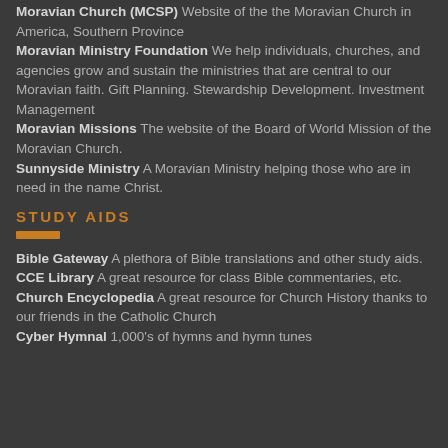Moravian Church (MCSP) Website of the the Moravian Church in America, Southern Province
Moravian Ministry Foundation We help individuals, churches, and agencies grow and sustain the ministries that are central to our Moravian faith. Gift Planning. Stewardship Development. Investment Management
Moravian Missions The website of the Board of World Mission of the Moravian Church.
Sunnyside Ministry A Moravian Ministry helping those who are in need in the name Christ.
STUDY AIDS
Bible Gateway A plethora of Bible translations and other study aids.
CCE Library A great resource for class Bible commentaries, etc.
Church Encyclopedia A great resource for Church History thanks to our friends in the Catholic Church
Cyber Hymnal 1,000's of hymns and hymn tunes